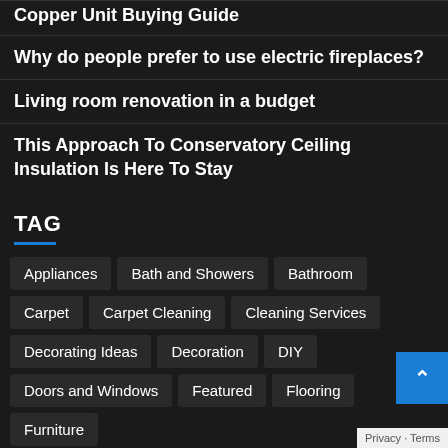Copper Unit Buying Guide
Why do people prefer to use electric fireplaces?
Living room renovation in a budget
This Approach To Conservatory Ceiling Insulation Is Here To Stay
TAG
Appliances
Bath and Showers
Bathroom
Carpet
Carpet Cleaning
Cleaning Services
Decorating Ideas
Decoration
DIY
Doors and Windows
Featured
Flooring
Furniture